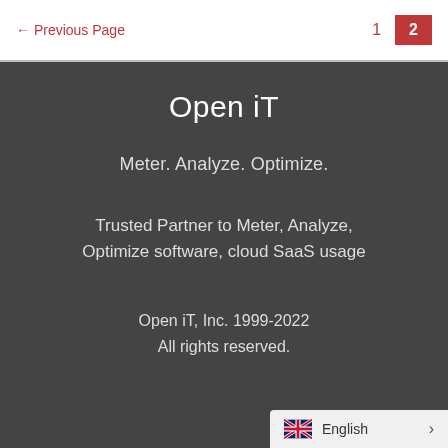← Previous Page  1  2
Open iT
Meter. Analyze. Optimize.
Trusted Partner to Meter, Analyze, Optimize software, cloud SaaS usage
Open iT, Inc. 1999-2022
All rights reserved.